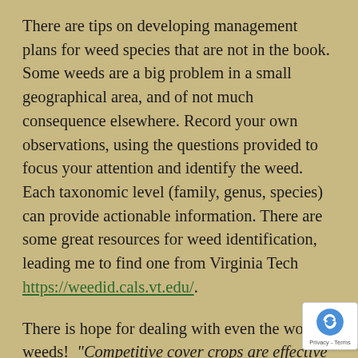There are tips on developing management plans for weed species that are not in the book. Some weeds are a big problem in a small geographical area, and of not much consequence elsewhere. Record your own observations, using the questions provided to focus your attention and identify the weed. Each taxonomic level (family, genus, species) can provide actionable information. There are some great resources for weed identification, leading me to find one from Virginia Tech https://weedid.cals.vt.edu/.
There is hope for dealing with even the worst weeds! "Competitive cover crops are effective for suppressing bermudagrass." Example: A dense